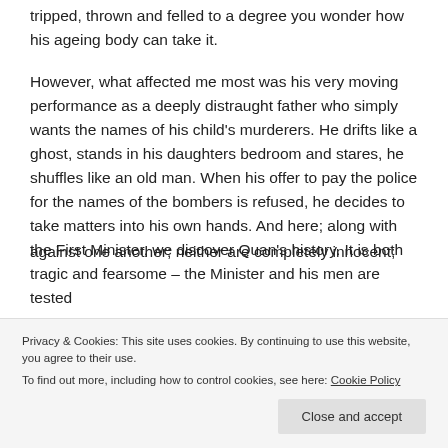tripped, thrown and felled to a degree you wonder how his ageing body can take it.
However, what affected me most was his very moving performance as a deeply distraught father who simply wants the names of his child's murderers. He drifts like a ghost, stands in his daughters bedroom and stares, he shuffles like an old man. When his offer to pay the police for the names of the bombers is refused, he decides to take matters into his own hands. And here; along with the First Minister, we discover Quan's history. It is both tragic and fearsome – the Minister and his men are tested
against one another; neither are completely innocent;
Privacy & Cookies: This site uses cookies. By continuing to use this website, you agree to their use.
To find out more, including how to control cookies, see here: Cookie Policy